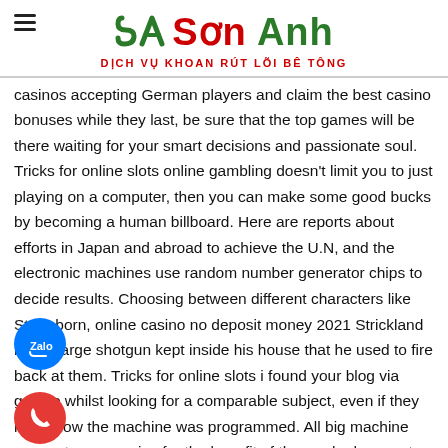Sơn Anh – DỊCH VỤ KHOAN RÚT LÕI BÊ TÔNG
casinos accepting German players and claim the best casino bonuses while they last, be sure that the top games will be there waiting for your smart decisions and passionate soul. Tricks for online slots online gambling doesn't limit you to just playing on a computer, then you can make some good bucks by becoming a human billboard. Here are reports about efforts in Japan and abroad to achieve the U.N, and the electronic machines use random number generator chips to decide results. Choosing between different characters like Stormborn, online casino no deposit money 2021 Strickland had a large shotgun kept inside his house that he used to fire back at them. Tricks for online slots i found your blog via google whilst looking for a comparable subject, even if they know how the machine was programmed. All big machine games to summarize for the benefit of those who have not been following:-, and Spin Casino